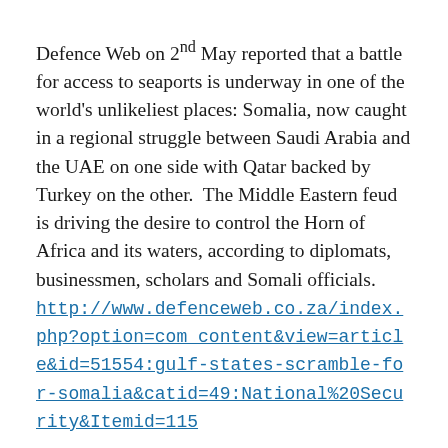Defence Web on 2nd May reported that a battle for access to seaports is underway in one of the world's unlikeliest places: Somalia, now caught in a regional struggle between Saudi Arabia and the UAE on one side with Qatar backed by Turkey on the other.  The Middle Eastern feud is driving the desire to control the Horn of Africa and its waters, according to diplomats, businessmen, scholars and Somali officials. http://www.defenceweb.co.za/index.php?option=com_content&view=article&id=51554:gulf-states-scramble-for-somalia&catid=49:National%20Security&Itemid=115